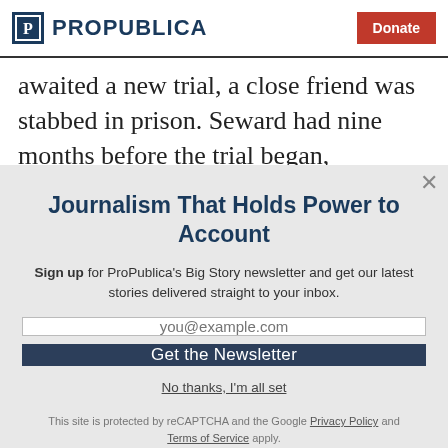ProPublica | Donate
awaited a new trial, a close friend was stabbed in prison. Seward had nine months before the trial began,
Journalism That Holds Power to Account
Sign up for ProPublica's Big Story newsletter and get our latest stories delivered straight to your inbox.
you@example.com
Get the Newsletter
No thanks, I'm all set
This site is protected by reCAPTCHA and the Google Privacy Policy and Terms of Service apply.